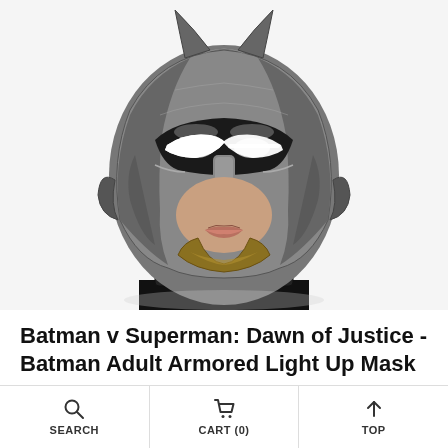[Figure (photo): Child wearing Batman armored helmet/mask with illuminated white LED eye slits. The mask is silver/metallic with a gold chin piece. White background product shot.]
Batman v Superman: Dawn of Justice - Batman Adult Armored Light Up Mask
Size: One Size
Sizing Chart
SEARCH | CART (0) | TOP